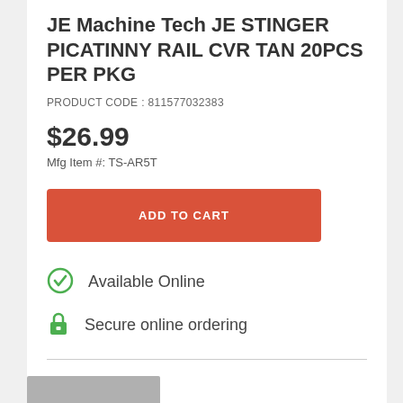JE Machine Tech JE STINGER PICATINNY RAIL CVR TAN 20PCS PER PKG
PRODUCT CODE : 811577032383
$26.99
Mfg Item #: TS-AR5T
ADD TO CART
Available Online
Secure online ordering